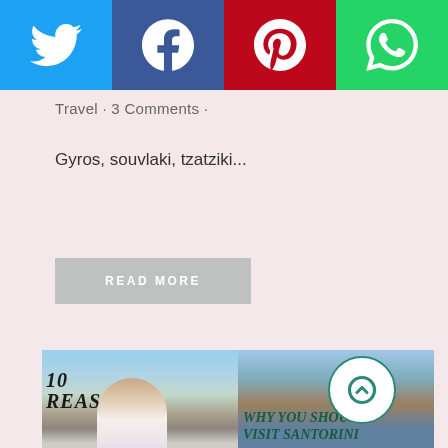[Figure (screenshot): Social share bar with Twitter (blue), Facebook (dark blue), Pinterest (red), and WhatsApp (green) buttons]
Travel · 3 Comments ·
Gyros, souvlaki, tzatziki...
READ MORE
[Figure (photo): Blog post collage: left side shows a woman in white dress with '10 reasons' text overlay on Santorini background; right side shows a donkey on a cliff with 'WHY YOU SHOULD VISIT SANTORINI' text overlay]